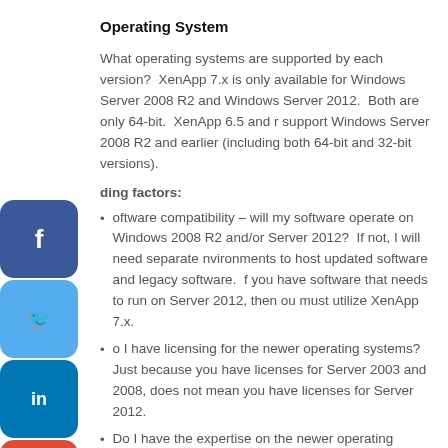Operating System
What operating systems are supported by each version?  XenApp 7.x is only available for Windows Server 2008 R2 and Windows Server 2012.  Both are only 64-bit.  XenApp 6.5 and r support Windows Server 2008 R2 and earlier (including both 64-bit and 32-bit versions).
ding factors:
oftware compatibility – will my software operate on Windows 2008 R2 and/or Server 2012?  If not, I will need separate nvironments to host updated software and legacy software.  f you have software that needs to run on Server 2012, then ou must utilize XenApp 7.x.
o I have licensing for the newer operating systems?  Just because you have licenses for Server 2003 and 2008, does not mean you have licenses for Server 2012.
Do I have the expertise on the newer operating system?  Windows Server 2012 has a significantly different interface from previous server operating systems.  Applications and